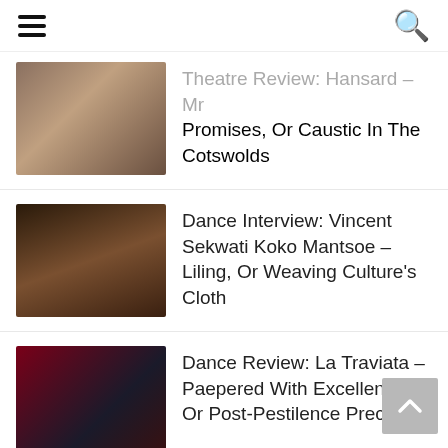[hamburger menu] [search icon]
Theatre Review: Hansard – Mr Promises, Or Caustic In The Cotswolds
Dance Interview: Vincent Sekwati Koko Mantsoe – Liling, Or Weaving Culture's Cloth
Dance Review: La Traviata – Paepered With Excellence, Or Post-Pestilence Precision
Music Interview: Janie Bay – Almost There, Or Perpetually Arriving
[partial fifth item]